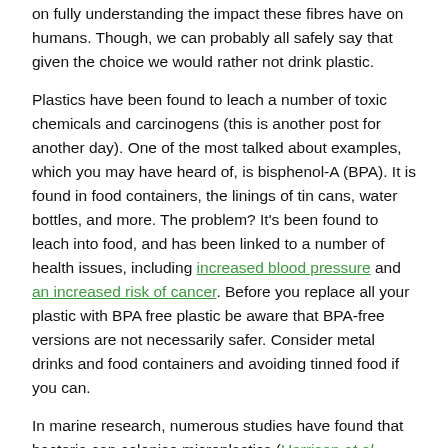on fully understanding the impact these fibres have on humans. Though, we can probably all safely say that given the choice we would rather not drink plastic.
Plastics have been found to leach a number of toxic chemicals and carcinogens (this is another post for another day). One of the most talked about examples, which you may have heard of, is bisphenol-A (BPA). It is found in food containers, the linings of tin cans, water bottles, and more. The problem? It's been found to leach into food, and has been linked to a number of health issues, including increased blood pressure and an increased risk of cancer. Before you replace all your plastic with BPA free plastic be aware that BPA-free versions are not necessarily safer. Consider metal drinks and food containers and avoiding tinned food if you can.
In marine research, numerous studies have found that bacteria can colonise microplastics (Harrison et al., 2014). In addition to that, microplastics absorb and release chemicals into marine life (Koelmans, 2015). The obvious way this affects humans is that when we eat seafood, we also ingest those chemicals. This is called bioaccumulation, and means that those at the top of the